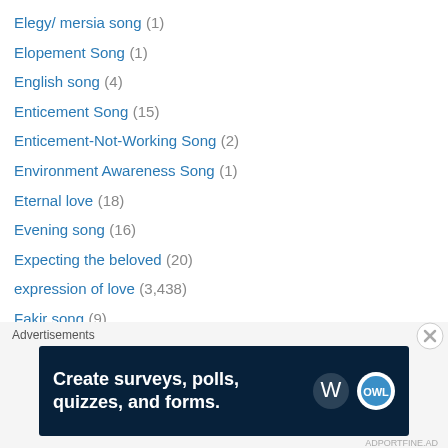Elegy/ mersia song (1)
Elopement Song (1)
English song (4)
Enticement Song (15)
Enticement-Not-Working Song (2)
Environment Awareness Song (1)
Eternal love (18)
Evening song (16)
Expecting the beloved (20)
expression of love (3,438)
Fakir song (9)
Family Planning Message Song (1)
Family union song (1)
Faqir Mohammed Songs (1)
Faqir Mohammed Solo Songs (1)
Farewell song (11)
Advertisements
[Figure (other): Advertisement banner: Create surveys, polls, quizzes, and forms. WordPress logo and Survey Owl icon on dark blue background.]